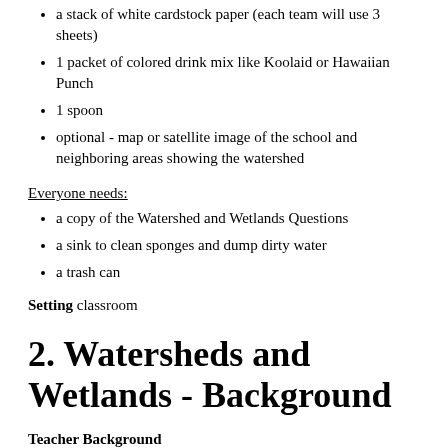a stack of white cardstock paper (each team will use 3 sheets)
1 packet of colored drink mix like Koolaid or Hawaiian Punch
1 spoon
optional - map or satellite image of the school and neighboring areas showing the watershed
Everyone needs:
a copy of the Watershed and Wetlands Questions
a sink to clean sponges and dump dirty water
a trash can
Setting
classroom
2. Watersheds and Wetlands - Background
Teacher Background
The concept of the watershed forms the foundation of much environmental science. Formally, a “watershed” is the area of